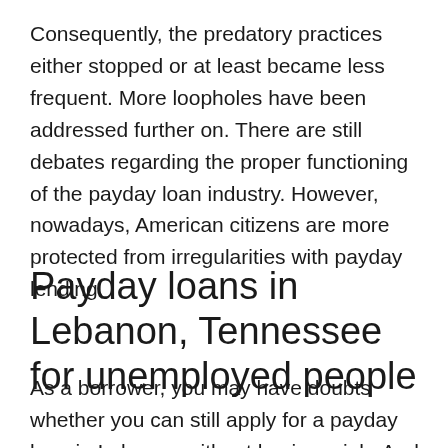Consequently, the predatory practices either stopped or at least became less frequent. More loopholes have been addressed further on. There are still debates regarding the proper functioning of the payday loan industry. However, nowadays, American citizens are more protected from irregularities with payday lending.
Payday loans in Lebanon, Tennessee for unemployed people
As a borrower, you may have doubts whether you can still apply for a payday loan in Lebanon without having a job. And the answer is that you can, on two conditions. The first one is to qualify according to